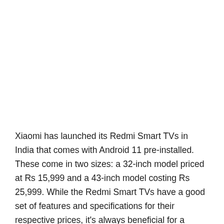Xiaomi has launched its Redmi Smart TVs in India that comes with Android 11 pre-installed. These come in two sizes: a 32-inch model priced at Rs 15,999 and a 43-inch model costing Rs 25,999. While the Redmi Smart TVs have a good set of features and specifications for their respective prices, it's always beneficial for a consumer to look at some of the alternatives, so here are the top ones we found: